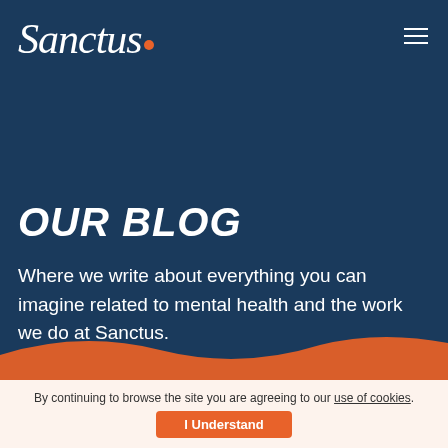[Figure (logo): Sanctus logo — white cursive/italic text reading 'Sanctus' with an orange dot after it, on dark navy background]
OUR BLOG
Where we write about everything you can imagine related to mental health and the work we do at Sanctus.
[Figure (illustration): Orange wave/hill shape at the bottom of the dark navy section, transitioning to the cookie bar]
By continuing to browse the site you are agreeing to our use of cookies.
I Understand